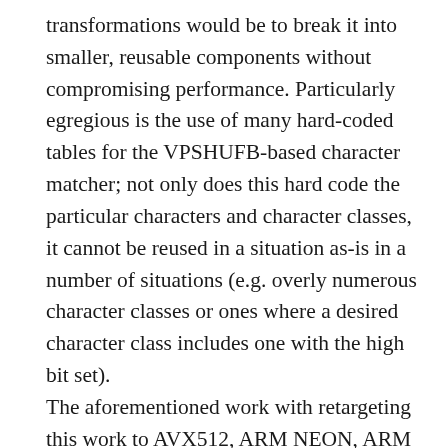transformations would be to break it into smaller, reusable components without compromising performance. Particularly egregious is the use of many hard-coded tables for the VPSHUFB-based character matcher; not only does this hard code the particular characters and character classes, it cannot be reused in a situation as-is in a number of situations (e.g. overly numerous character classes or ones where a desired character class includes one with the high bit set). The aforementioned work with retargeting this work to AVX512, ARM NEON, ARM SVE or GPGPU (CUDA or OpenCL) would be interesting as an exercise. These are varying degrees of difficulty.